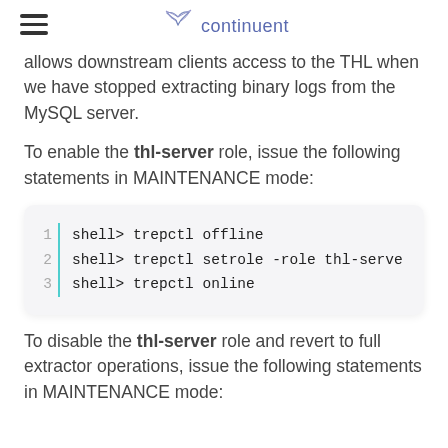continuent
allows downstream clients access to the THL when we have stopped extracting binary logs from the MySQL server.
To enable the thl-server role, issue the following statements in MAINTENANCE mode:
| line | code |
| --- | --- |
| 1 | shell> trepctl offline |
| 2 | shell> trepctl setrole -role thl-serve |
| 3 | shell> trepctl online |
To disable the thl-server role and revert to full extractor operations, issue the following statements in MAINTENANCE mode: